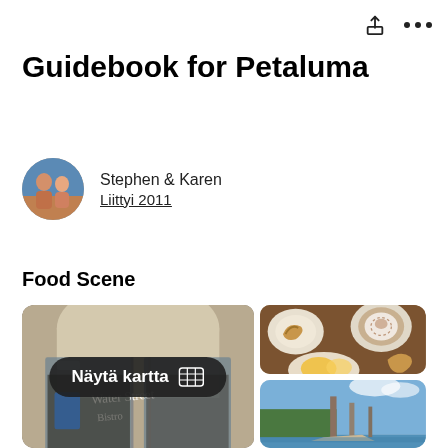Guidebook for Petaluma
Stephen & Karen
Liittyi 2011
Food Scene
[Figure (photo): Left: storefront of Water Street Bistro restaurant with glass doors and signage. Top right: overhead view of pastries, croissants and coffee/cappuccino on plates. Bottom right: outdoor waterfront scene with boats and blue sky. Center overlay: dark pill-shaped button reading 'Näytä kartta' with map grid icon.]